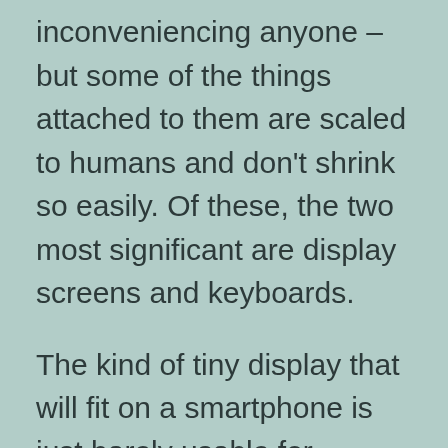inconveniencing anyone – but some of the things attached to them are scaled to humans and don't shrink so easily. Of these, the two most significant are display screens and keyboards.
The kind of tiny display that will fit on a smartphone is just barely usable for browsing the Web, provided you're willing to accept some inconveniences like not having an actual mouse. Tiny keyboards are OK for tiny amounts of text. We accept these inconveniences in a smartphone because it has to fit in a pocket.